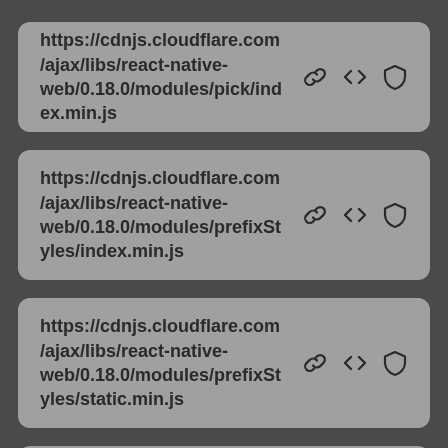https://cdnjs.cloudflare.com/ajax/libs/react-native-web/0.18.0/modules/pick/index.min.js
https://cdnjs.cloudflare.com/ajax/libs/react-native-web/0.18.0/modules/prefixStyles/index.min.js
https://cdnjs.cloudflare.com/ajax/libs/react-native-web/0.18.0/modules/prefixStyles/static.min.js
https://cdnjs.cloudflare.com/ajax ...